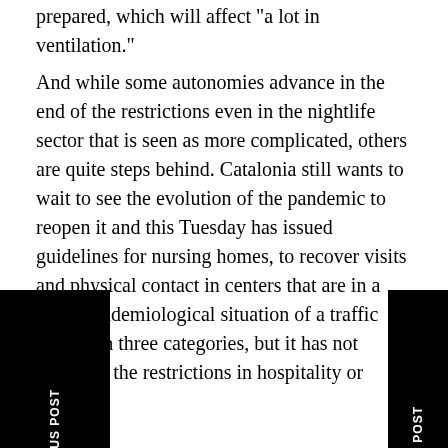prepared, which will affect "a lot in ventilation."
And while some autonomies advance in the end of the restrictions even in the nightlife sector that is seen as more complicated, others are quite steps behind. Catalonia still wants to wait to see the evolution of the pandemic to reopen it and this Tuesday has issued guidelines for nursing homes, to recover visits and physical contact in centers that are in a better epidemiological situation of a traffic light with three categories, but it has not modified the restrictions in hospitality or nightlife.
In this scenario, businessmen and workers from the nightlife and entertainment sector will gather this Wednesday in front of the Ministry of Health to demand the immediate reopening of the premises to 100% of its capacity, with dance floors and without limits to the hours of opening. However, decisions such as those in Madrid or Aragon to extend hours or